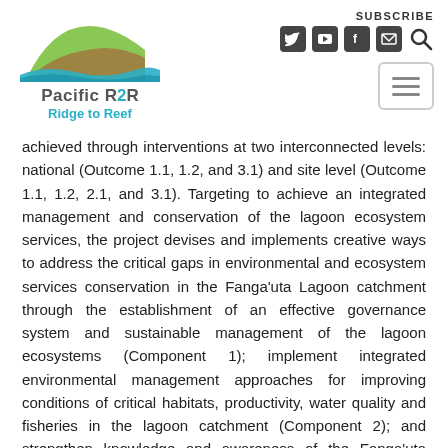[Figure (logo): Pacific R2R Ridge to Reef logo with green hill and blue wave, with social media icons and subscribe label and hamburger menu button]
achieved through interventions at two interconnected levels: national (Outcome 1.1, 1.2, and 3.1) and site level (Outcome 1.1, 1.2, 2.1, and 3.1). Targeting to achieve an integrated management and conservation of the lagoon ecosystem services, the project devises and implements creative ways to address the critical gaps in environmental and ecosystem services conservation in the Fanga'uta Lagoon catchment through the establishment of an effective governance system and sustainable management of the lagoon ecosystems (Component 1); implement integrated environmental management approaches for improving conditions of critical habitats, productivity, water quality and fisheries in the lagoon catchment (Component 2); and strengthen knowledge and awareness of the Fanga'uta Lagoon ecosystem functions and